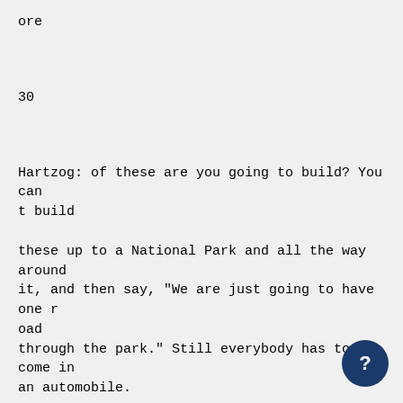ore
30
Hartzog: of these are you going to build? You can t build
these up to a National Park and all the way around it, and then say, "We are just going to have one r oad through the park." Still everybody has to come in an automobile.
So this is why I think that all of us have to do some constructive thinking about how we are goi ng to cope with this problem of taking care of people in a park because everybody isn t going to wal n. Particularly in an area the size of Yellowstone, f